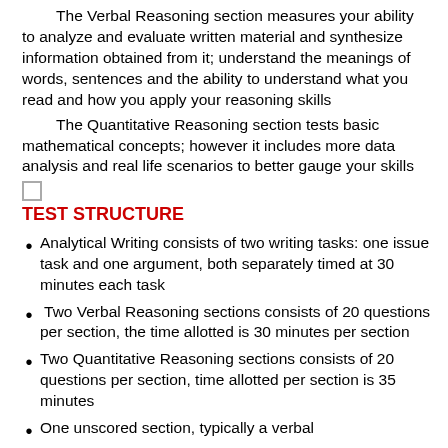The Verbal Reasoning section measures your ability to analyze and evaluate written material and synthesize information obtained from it; understand the meanings of words, sentences and the ability to understand what you read and how you apply your reasoning skills
The Quantitative Reasoning section tests basic mathematical concepts; however it includes more data analysis and real life scenarios to better gauge your skills
TEST STRUCTURE
Analytical Writing consists of two writing tasks: one issue task and one argument, both separately timed at 30 minutes each task
Two Verbal Reasoning sections consists of 20 questions per section, the time allotted is 30 minutes per section
Two Quantitative Reasoning sections consists of 20 questions per section, time allotted per section is 35 minutes
One unscored section, typically a verbal